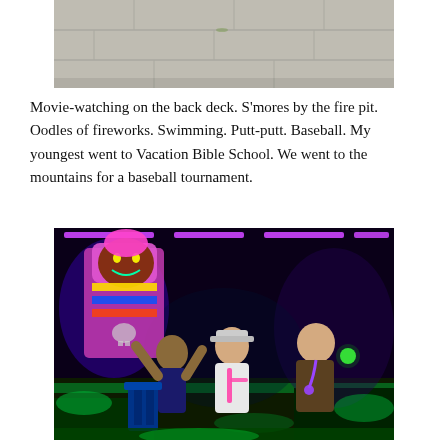[Figure (photo): Partial photo at top of page showing a light-colored stone or concrete wall/ground surface, cropped at the bottom.]
Movie-watching on the back deck. S'mores by the fire pit. Oodles of fireworks. Swimming. Putt-putt. Baseball. My youngest went to Vacation Bible School. We went to the mountains for a baseball tournament.
[Figure (photo): Indoor black-light mini golf photo. Three people (two kids and a teenage boy) are posing and smiling in a darkened neon-lit mini golf course. A large colorful monster/clown character statue stands in the background. Green, pink, and purple neon lights illuminate the scene.]